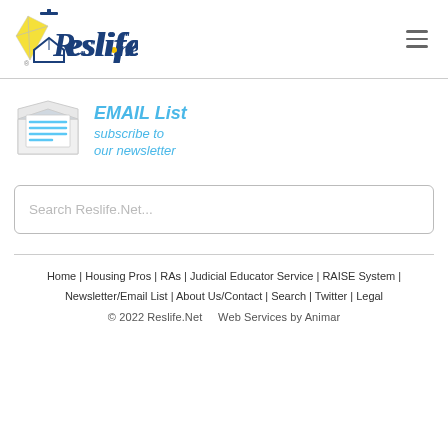[Figure (logo): Reslife.net logo with kite and mortarboard graphic]
[Figure (illustration): Email envelope icon with lines representing email content]
EMAIL List subscribe to our newsletter
Search Reslife.Net...
Home | Housing Pros | RAs | Judicial Educator Service | RAISE System | Newsletter/Email List | About Us/Contact | Search | Twitter | Legal
© 2022 Reslife.Net    Web Services by Animar